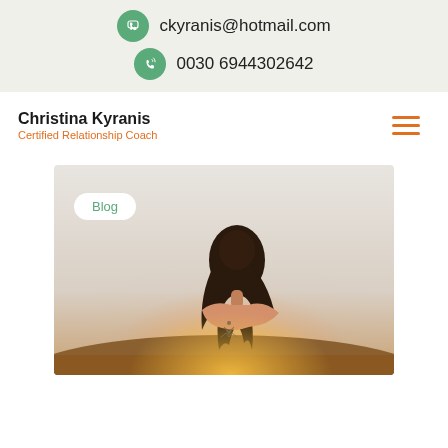ckyranis@hotmail.com
0030 6944302642
Christina Kyranis
Certified Relationship Coach
[Figure (photo): Woman seen from behind with dark hair tied, tattoo on lower back, warm sunset light, blog section header image]
Blog